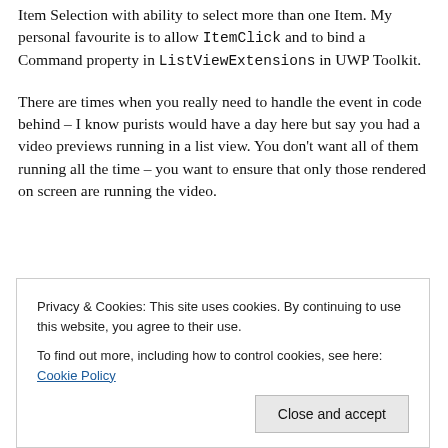Item Selection with ability to select more than one Item. My personal favourite is to allow ItemClick and to bind a Command property in ListViewExtensions in UWP Toolkit.
There are times when you really need to handle the event in code behind – I know purists would have a day here but say you had a video previews running in a list view. You don't want all of them running all the time – you want to ensure that only those rendered on screen are running the video.
Privacy & Cookies: This site uses cookies. By continuing to use this website, you agree to their use. To find out more, including how to control cookies, see here: Cookie Policy
Every time ViewChanged event is raised,